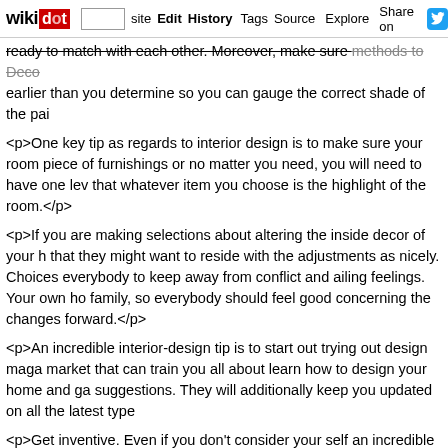wikidot | site | Edit | History | Tags | Source | Explore | Share on [Twitter]
ready to match with each other. Moreover, make sure methods to Deco earlier than you determine so you can gauge the correct shade of the pai

<p>One key tip as regards to interior design is to make sure your room piece of furnishings or no matter you need, you will need to have one lev that whatever item you choose is the highlight of the room.</p>

<p>If you are making selections about altering the inside decor of your h that they might want to reside with the adjustments as nicely. Choices everybody to keep away from conflict and ailing feelings. Your own ho family, so everybody should feel good concerning the changes forward.</p>

<p>An incredible interior-design tip is to start out trying out design maga market that can train you all about learn how to design your home and ga suggestions. They will additionally keep you updated on all the latest type

<p>Get inventive. Even if you don't consider your self an incredible artist. Draw a symbol or an abstract piece on a chunk of drawing paper. It wo Your own home With These Useful Tips in a high quality body. If you'd l four drawings and body all of them collectively.</p>

<p>It may be troublesome to decorate a basement because you cannot p in such a dark and gloomy place. If The whole lot You are Questioning Ab and fabrics, you possibly can flip your darkish, damp, miserable basem spend time with your loved ones.</p>

<p>Do you work from home? If so you might want to consider the colors that area. Blue and green are the very best colours to paint the walls b minimize your stress and lessen distractions if you are working.</p>